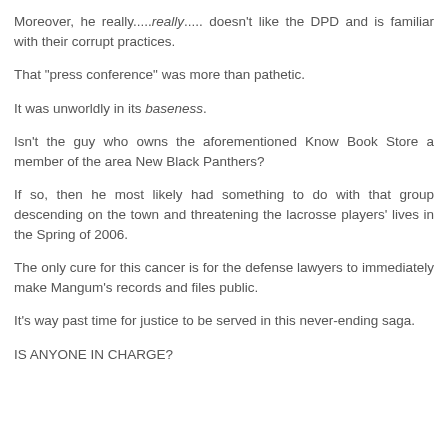Moreover, he really.....really..... doesn't like the DPD and is familiar with their corrupt practices.
That "press conference" was more than pathetic.
It was unworldly in its baseness.
Isn't the guy who owns the aforementioned Know Book Store a member of the area New Black Panthers?
If so, then he most likely had something to do with that group descending on the town and threatening the lacrosse players' lives in the Spring of 2006.
The only cure for this cancer is for the defense lawyers to immediately make Mangum's records and files public.
It's way past time for justice to be served in this never-ending saga.
IS ANYONE IN CHARGE?